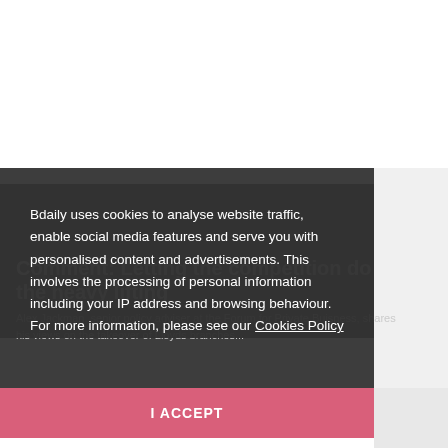[Figure (photo): White top area of a webpage, blank/empty space]
Comment: Letting the competition do the heavy lifting
Alex Jackman, senior policy adviser at the Forum for Private Buisness, shares his views on the takeover of Lloyds branches...
Bdaily uses cookies to analyse website traffic, enable social media features and serve you with personalised content and advertisements. This involves the processing of personal information including your IP address and browsing behaviour. For more information, please see our Cookies Policy
I ACCEPT